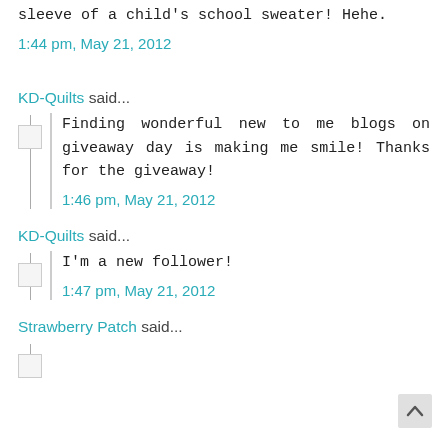sleeve of a child's school sweater! Hehe.
1:44 pm, May 21, 2012
KD-Quilts said...
Finding wonderful new to me blogs on giveaway day is making me smile! Thanks for the giveaway!
1:46 pm, May 21, 2012
KD-Quilts said...
I'm a new follower!
1:47 pm, May 21, 2012
Strawberry Patch said...